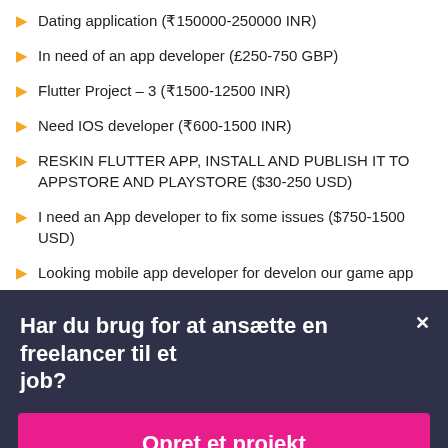Dating application (₹150000-250000 INR)
In need of an app developer (£250-750 GBP)
Flutter Project – 3 (₹1500-12500 INR)
Need IOS developer (₹600-1500 INR)
RESKIN FLUTTER APP, INSTALL AND PUBLISH IT TO APPSTORE AND PLAYSTORE ($30-250 USD)
I need an App developer to fix some issues ($750-1500 USD)
Looking mobile app developer for develon our game app
Har du brug for at ansætte en freelancer til et job?
Opret et projekt